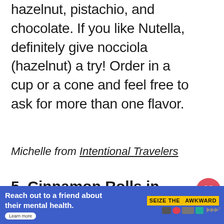hazelnut, pistachio, and chocolate. If you like Nutella, definitely give nocciola (hazelnut) a try! Order in a cup or a cone and feel free to ask for more than one flavor.
Michelle from Intentional Travelers
5. Cinnamon Rolls in Sweden
[Figure (photo): Partial view of an image, appears to show a blue sky with some structure visible at the top edge]
[Figure (infographic): Advertisement banner: 'Reach out to a friend about their mental health. Learn more' with 'SEIZE THE AWKWARD' logo and sponsor icons]